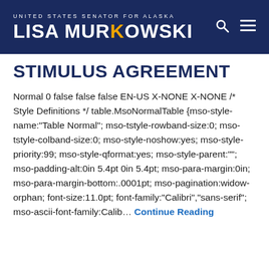UNITED STATES SENATOR FOR ALASKA
LISA MURKOWSKI
STIMULUS AGREEMENT
Normal 0 false false false EN-US X-NONE X-NONE /* Style Definitions */ table.MsoNormalTable {mso-style-name:"Table Normal"; mso-tstyle-rowband-size:0; mso-tstyle-colband-size:0; mso-style-noshow:yes; mso-style-priority:99; mso-style-qformat:yes; mso-style-parent:""; mso-padding-alt:0in 5.4pt 0in 5.4pt; mso-para-margin:0in; mso-para-margin-bottom:.0001pt; mso-pagination:widow-orphan; font-size:11.0pt; font-family:"Calibri","sans-serif"; mso-ascii-font-family:Calib... Continue Reading